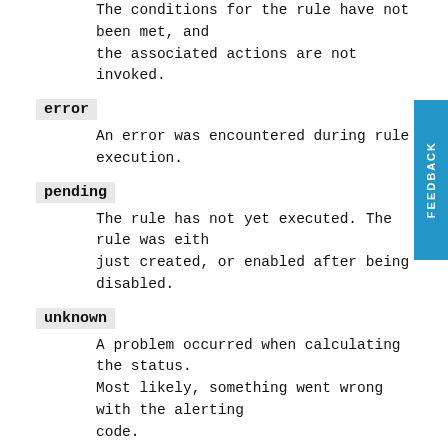The conditions for the rule have not been met, and the associated actions are not invoked.
error
An error was encountered during rule execution.
pending
The rule has not yet executed. The rule was either just created, or enabled after being disabled.
unknown
A problem occurred when calculating the status. Most likely, something went wrong with the alerting code.
Import and export rules
To import and export rules, use the Saved Objects Management UI.